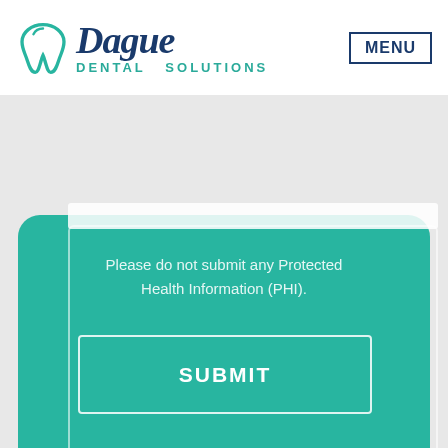Dague Dental Solutions | MENU
Please do not submit any Protected Health Information (PHI).
SUBMIT